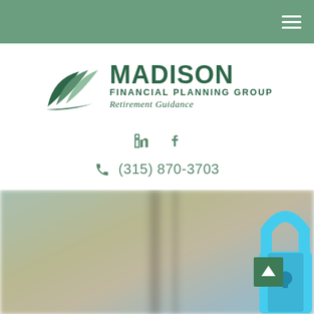[Figure (screenshot): Navigation bar with green background and hamburger menu icon on the right]
[Figure (logo): Madison Financial Planning Group logo with stylized green leaf/wing shapes and text 'MADISON FINANCIAL PLANNING GROUP Retirement Guidance']
in  f
(315) 870-3703
[Figure (photo): Blurred background photo with cyan padlock graphic on the right side and a green scroll-to-top button]